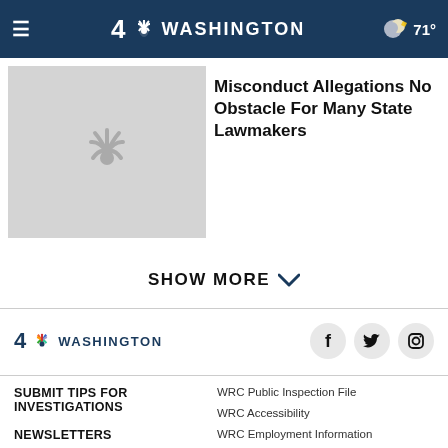4 NBC WASHINGTON  ≡  71°
[Figure (logo): NBC peacock logo placeholder thumbnail, light gray background]
Misconduct Allegations No Obstacle For Many State Lawmakers
SHOW MORE ∨
[Figure (logo): 4 NBC Washington footer logo with peacock icon]
Social icons: Facebook, Twitter, Instagram
SUBMIT TIPS FOR INVESTIGATIONS
NEWSLETTERS
CONNECT WITH US
WRC Public Inspection File
WRC Accessibility
WRC Employment Information
Send Feedback
FCC Applications